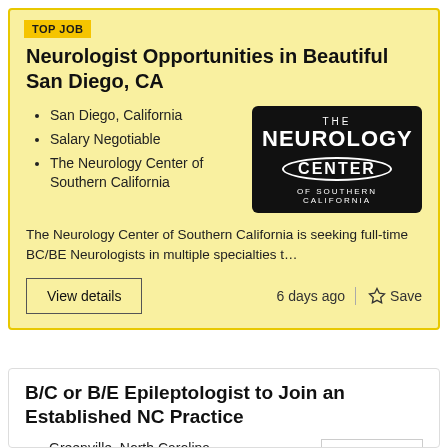TOP JOB
Neurologist Opportunities in Beautiful San Diego, CA
San Diego, California
Salary Negotiable
The Neurology Center of Southern California
[Figure (logo): The Neurology Center of Southern California logo - black rounded rectangle with white text]
The Neurology Center of Southern California is seeking full-time BC/BE Neurologists in multiple specialties t...
View details
6 days ago
Save
B/C or B/E Epileptologist to Join an Established NC Practice
Greenville, North Carolina